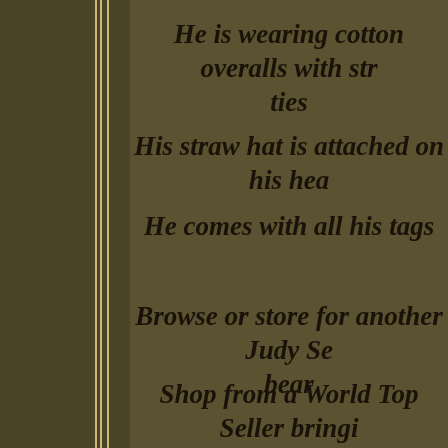He is wearing cotton overalls with str ties
His straw hat is attached on his hea
He comes with all his tags
Browse or store for another Judy Se bear
Shop from a World Top Seller bringi our customers their favorite collectibles in 9 shoppes worldwide